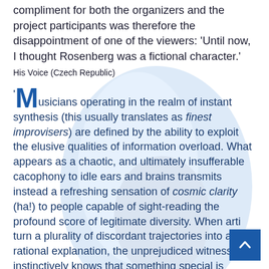compliment for both the organizers and the project participants was therefore the disappointment of one of the viewers: 'Until now, I thought Rosenberg was a fictional character.'
His Voice (Czech Republic)
'Musicians operating in the realm of instant synthesis (this usually translates as finest improvisers) are defined by the ability to exploit the elusive qualities of information overload. What appears as a chaotic, and ultimately insufferable cacophony to idle ears and brains transmits instead a refreshing sensation of cosmic clarity (ha!) to people capable of sight-reading the profound score of legitimate diversity. When arti turn a plurality of discordant trajectories into a rational explanation, the unprejudiced witness instinctively knows that something special is happening. Jon Rose and Alvin Curran have so